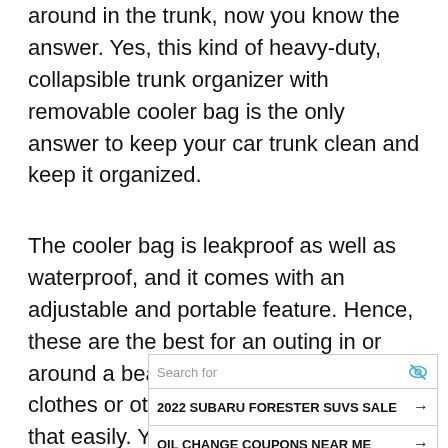around in the trunk, now you know the answer. Yes, this kind of heavy-duty, collapsible trunk organizer with removable cooler bag is the only answer to keep your car trunk clean and keep it organized.
The cooler bag is leakproof as well as waterproof, and it comes with an adjustable and portable feature. Hence, these are the best for an outing in or around a beach as they won't let your clothes or other accessories get wet that easily. You can use this heavy-duty car trunk
[Figure (screenshot): Ad search widget with 'Search for' bar, eye icon, two search result rows ('2022 SUBARU FORESTER SUVS SALE' and 'OIL CHANGE COUPONS NEAR ME'), and footer showing 'Ad | Glocal Search']